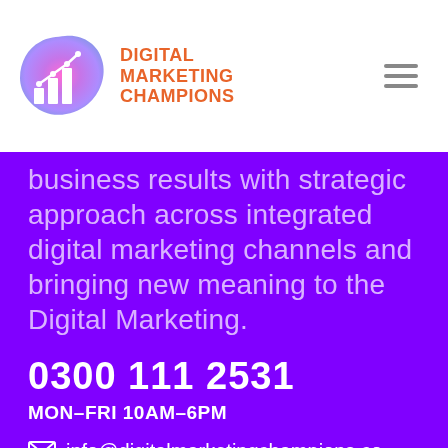[Figure (logo): Digital Marketing Champions logo with colorful blob shape containing bar chart and trend line icon, beside orange brand name text]
business results with strategic approach across integrated digital marketing channels and bringing new meaning to the Digital Marketing.
0300 111 2531
MON–FRI 10AM–6PM
info@digitalmarketingchampions.co